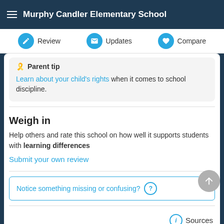Murphy Candler Elementary School
Review  Updates  Compare
🎗️ Parent tip
Learn about your child's rights when it comes to school discipline.
Weigh in
Help others and rate this school on how well it supports students with learning differences
Submit your own review
Notice something missing or confusing? ?
Sources